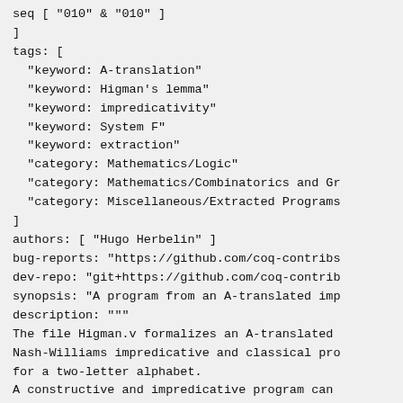seq [ "010" & "010" ]
]
tags: [
  "keyword: A-translation"
  "keyword: Higman's lemma"
  "keyword: impredicativity"
  "keyword: System F"
  "keyword: extraction"
  "category: Mathematics/Logic"
  "category: Mathematics/Combinatorics and Gr
  "category: Miscellaneous/Extracted Programs
]
authors: [ "Hugo Herbelin" ]
bug-reports: "https://github.com/coq-contribs
dev-repo: "git+https://github.com/coq-contrib
synopsis: "A program from an A-translated imp
description: """
The file Higman.v formalizes an A-translated
Nash-Williams impredicative and classical pro
for a two-letter alphabet.
A constructive and impredicative program can
flags: light-uninstall